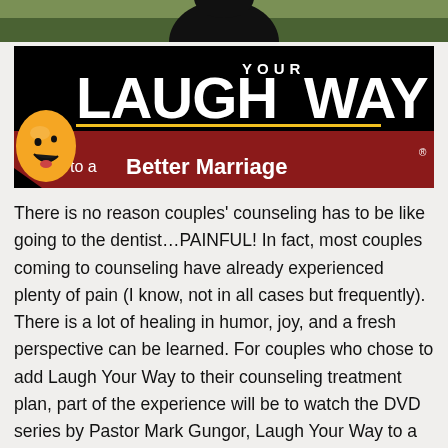[Figure (photo): Top photo strip showing outdoor greenery and a dark silhouette figure]
[Figure (illustration): Laugh Your Way to a Better Marriage logo banner: black background with large white text 'LAUGH YOUR WAY', red diagonal ribbon with white text 'to a Better Marriage', and an orange smiley face emoji on the left]
There is no reason couples' counseling has to be like going to the dentist…PAINFUL! In fact, most couples coming to counseling have already experienced plenty of pain (I know, not in all cases but frequently). There is a lot of healing in humor, joy, and a fresh perspective can be learned. For couples who chose to add Laugh Your Way to their counseling treatment plan, part of the experience will be to watch the DVD series by Pastor Mark Gungor, Laugh Your Way to a Better Marriage. The couple will also complete a Flag Page, which is a life motivator assessment, not a personality test. The DVD series looks at generalities in behavior between men and women in a